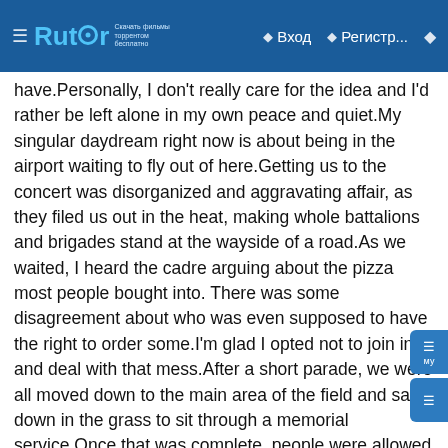Rutor — Вход — Регистр...
have.Personally, I don't really care for the idea and I'd rather be left alone in my own peace and quiet.My singular daydream right now is about being in the airport waiting to fly out of here.Getting us to the concert was disorganized and aggravating affair, as they filed us out in the heat, making whole battalions and brigades stand at the wayside of a road.As we waited, I heard the cadre arguing about the pizza most people bought into. There was some disagreement about who was even supposed to have the right to order some.I'm glad I opted not to join in and deal with that mess.After a short parade, we were all moved down to the main area of the field and sat down in the grass to sit through a memorial service.Once that was complete, people were allowed to get their pizza, which was a massively disorganized affair. It basically consisted of people rushing and swarming around the area where the pizza was.Sitting back down on the grass, the concert went on in periphery while I spoke with a friend.Day 282Waking up was difficult today. The late return from the previous day's activities cost us sleep.This is the final Sunday of the cycle. The day